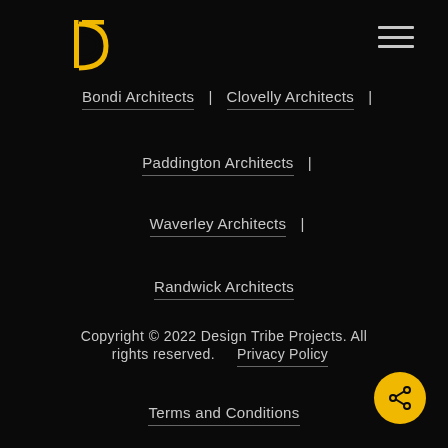[Figure (logo): Design Tribe Projects logo — golden D and P letterforms]
[Figure (other): Hamburger menu icon — three horizontal lines]
Bondi Architects | Clovelly Architects |
Paddington Architects |
Waverley Architects |
Randwick Architects
Copyright © 2022 Design Tribe Projects. All rights reserved.  Privacy Policy  Terms and Conditions
[Figure (other): Golden circular share button with share icon]